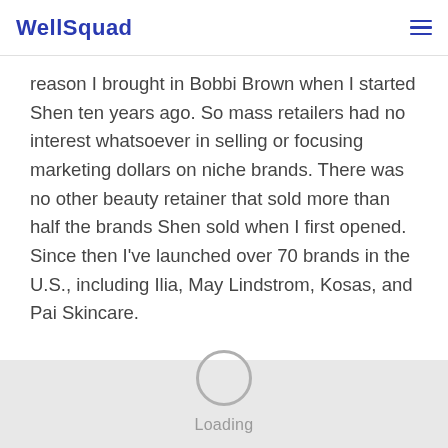WellSquad
reason I brought in Bobbi Brown when I started Shen ten years ago. So mass retailers had no interest whatsoever in selling or focusing marketing dollars on niche brands. There was no other beauty retainer that sold more than half the brands Shen sold when I first opened. Since then I've launched over 70 brands in the U.S., including Ilia, May Lindstrom, Kosas, and Pai Skincare.
[Figure (other): Loading spinner circle with 'Loading' text below, on a light grey background bar at the bottom of the page]